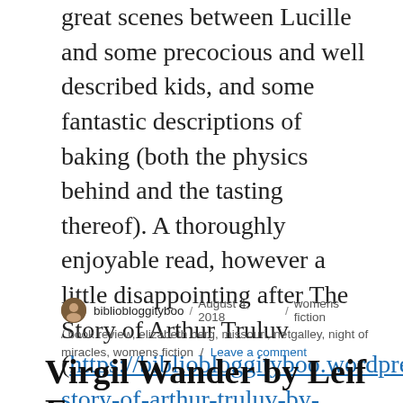great scenes between Lucille and some precocious and well described kids, and some fantastic descriptions of baking (both the physics behind and the tasting thereof). A thoroughly enjoyable read, however a little disappointing after The Story of Arthur Truluv (https://bibliobloggityboo.wordpress.com/2017/10/19/the-story-of-arthur-truluv-by-elizabeth-berg/) which I found far more beautiful, insightful, and inspiring.
bibliobloggityboo / August 4, 2018 / womens fiction / book review, elizabeth berg, missouri, netgalley, night of miracles, womens fiction / Leave a comment
Virgil Wander by Leif Enger